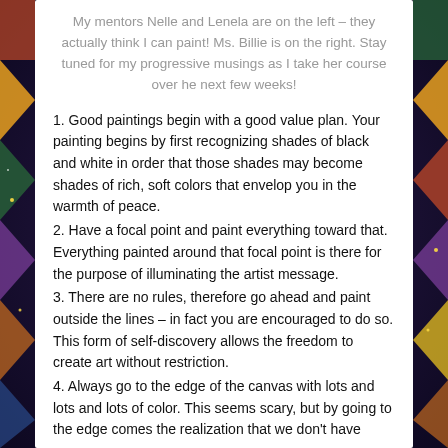My mentors Nelle and Lenela are on the left – they actually think I can paint! Ms. Billie is on the right. Stay tuned for my progressive musings as I take her course over he next few weeks!
1. Good paintings begin with a good value plan. Your painting begins by first recognizing shades of black and white in order that those shades may become shades of rich, soft colors that envelop you in the warmth of peace.
2. Have a focal point and paint everything toward that. Everything painted around that focal point is there for the purpose of illuminating the artist message.
3. There are no rules, therefore go ahead and paint outside the lines – in fact you are encouraged to do so. This form of self-discovery allows the freedom to create art without restriction.
4. Always go to the edge of the canvas with lots and lots and lots of color. This seems scary, but by going to the edge comes the realization that we don't have